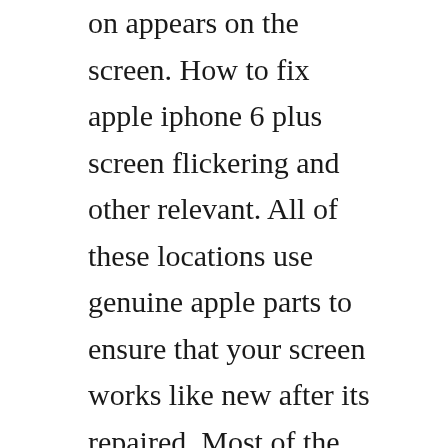on appears on the screen. How to fix apple iphone 6 plus screen flickering and other relevant. All of these locations use genuine apple parts to ensure that your screen works like new after its repaired. Most of the time, lines on your iphone screen is the result of a hardware problem. I replaced a screen assembly on an iphone 5 after the old one was smashed, and the person who i fixed it for just called me up today saying that the touch screen is acting all weird and basically having ghost touches on the screen, but its apparently its only happening along the bottom of the. If